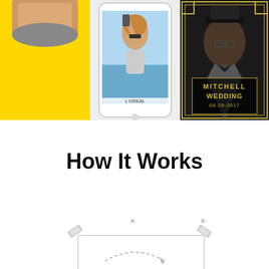[Figure (illustration): Three mobile phone screens side by side against a bright yellow background. Left panel: yellow background with partial face at top. Middle panel: phone mockup showing a woman taking a selfie outdoors near water, with L'OREAL branding at bottom. Right panel: dark art-deco styled image of a man in a hat with text 'MITCHELL WEDDING 08-25-2017'.]
How It Works
[Figure (illustration): Partial view of a diagram or infographic at the bottom of the page, showing corner tape/pin decorations and a dashed curved arrow, partially cropped.]